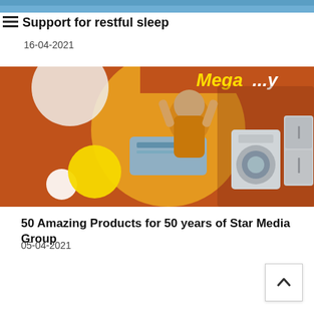[Figure (photo): Partial top banner image, cropped at top of page]
Support for restful sleep
16-04-2021
[Figure (photo): Promotional banner with orange/brown background, white and yellow circles, a man in orange shirt with hands on head, appliances including air conditioner, washing machine, refrigerator, and text 'Mega...' at top]
50 Amazing Products for 50 years of Star Media Group
05-04-2021